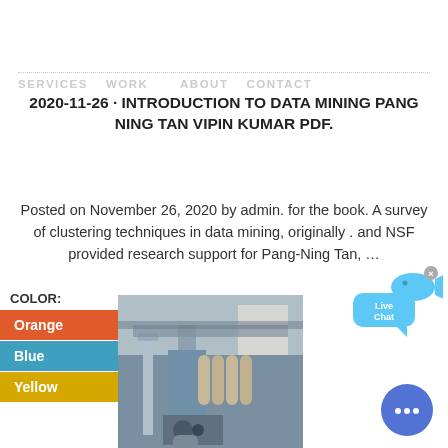SERVICES   WORK      ABOUT   CONTACT
2020-11-26 · INTRODUCTION TO DATA MINING PANG NING TAN VIPIN KUMAR PDF.
Posted on November 26, 2020 by admin. for the book. A survey of clustering techniques in data mining, originally . and NSF provided research support for Pang-Ning Tan, ...
[Figure (infographic): Live Chat bubble with fish icon and close X]
COLOR:
Orange
Blue
Yellow
[Figure (photo): Industrial mining machine equipment photo]
[Figure (infographic): Chat button circle with dots]